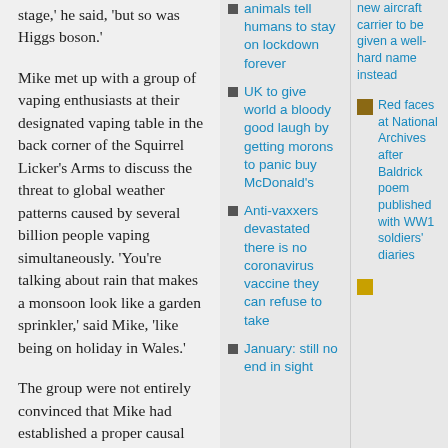stage,' he said, 'but so was Higgs boson.'
Mike met up with a group of vaping enthusiasts at their designated vaping table in the back corner of the Squirrel Licker's Arms to discuss the threat to global weather patterns caused by several billion people vaping simultaneously.  'You're talking about rain that makes a monsoon look like a garden sprinkler,' said Mike, 'like being on holiday in Wales.'
The group were not entirely convinced that Mike had established a proper causal link
animals tell humans to stay on lockdown forever
UK to give world a bloody good laugh by getting morons to panic buy McDonald's
Anti-vaxxers devastated there is no coronavirus vaccine they can refuse to take
January: still no end in sight
new aircraft carrier to be given a well-hard name instead
Red faces at National Archives after Baldrick poem published with WW1 soldiers' diaries